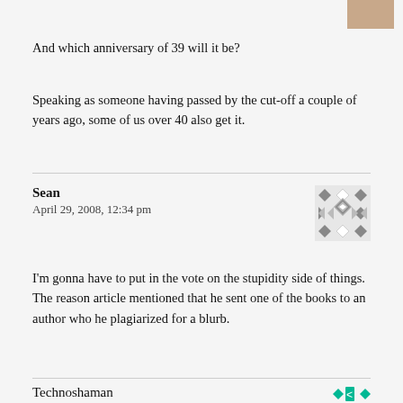[Figure (photo): Partial photo of a person in the top right corner]
And which anniversary of 39 will it be?
Speaking as someone having passed by the cut-off a couple of years ago, some of us over 40 also get it.
Sean
April 29, 2008, 12:34 pm
[Figure (illustration): Geometric diamond/square pattern avatar in gray]
I'm gonna have to put in the vote on the stupidity side of things. The reason article mentioned that he sent one of the books to an author who he plagiarized for a blurb.
Technoshaman
[Figure (illustration): Geometric avatar in teal/green at bottom right]